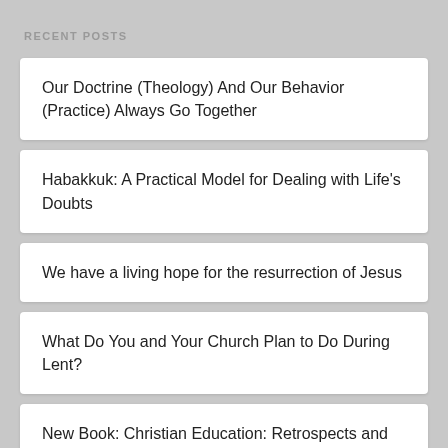RECENT POSTS
Our Doctrine (Theology) And Our Behavior (Practice) Always Go Together
Habakkuk: A Practical Model for Dealing with Life's Doubts
We have a living hope for the resurrection of Jesus
What Do You and Your Church Plan to Do During Lent?
New Book: Christian Education: Retrospects and Prospects